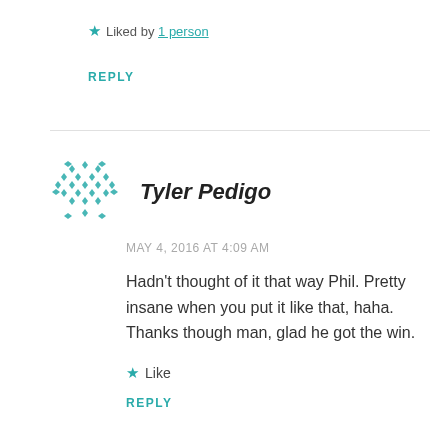★ Liked by 1 person
REPLY
[Figure (illustration): Teal geometric avatar icon made of diamond/dot shapes arranged in a circular pattern]
Tyler Pedigo
MAY 4, 2016 AT 4:09 AM
Hadn't thought of it that way Phil. Pretty insane when you put it like that, haha. Thanks though man, glad he got the win.
★ Like
REPLY